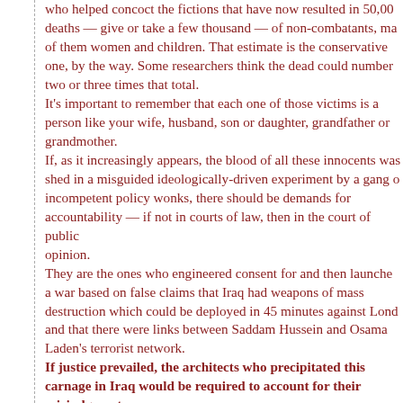who helped concoct the fictions that have now resulted in 50,000 deaths — give or take a few thousand — of non-combatants, many of them women and children. That estimate is the conservative one, by the way. Some researchers think the dead could number two or three times that total.
It's important to remember that each one of those victims is a person like your wife, husband, son or daughter, grandfather or grandmother.
If, as it increasingly appears, the blood of all these innocents was shed in a misguided ideologically-driven experiment by a gang of incompetent policy wonks, there should be demands for accountability — if not in courts of law, then in the court of public opinion.
They are the ones who engineered consent for and then launched a war based on false claims that Iraq had weapons of mass destruction which could be deployed in 45 minutes against London, and that there were links between Saddam Hussein and Osama Laden's terrorist network.
If justice prevailed, the architects who precipitated this carnage in Iraq would be required to account for their misjudgments.
Simply allowing them to say "Oops we made a mistake, let's move on" while the corpses continue to pile up should satisfy no one and should earn the censure of anybody who cares about simple justice for his or her fellow human beings.